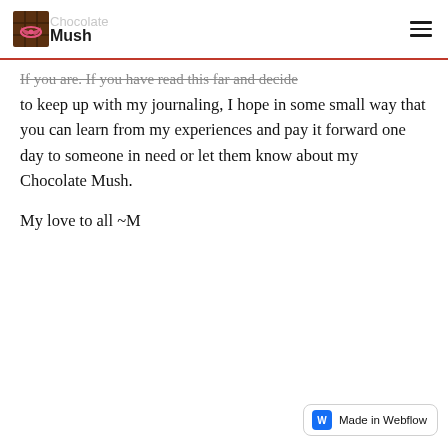Chocolate Mush
If you are. If you have read this far and decide to keep up with my journaling, I hope in some small way that you can learn from my experiences and pay it forward one day to someone in need or let them know about my Chocolate Mush.
My love to all ~M
[Figure (logo): Made in Webflow badge]